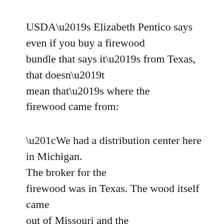USDA’s Elizabeth Pentico says even if you buy a firewood bundle that says it’s from Texas, that doesn’t mean that’s where the firewood came from:
“We had a distribution center here in Michigan. The broker for the firewood was in Texas. The wood itself came out of Missouri and the wood was distributed to Ohio and Indiana.”
So you can see, firewood can travel around a